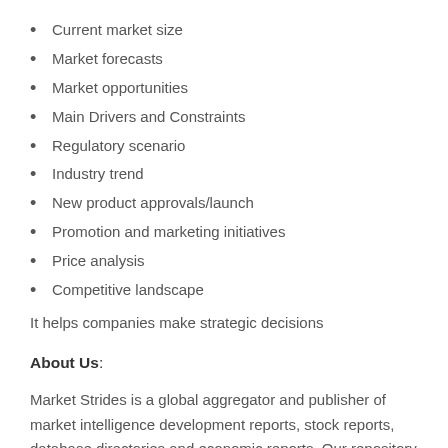Current market size
Market forecasts
Market opportunities
Main Drivers and Constraints
Regulatory scenario
Industry trend
New product approvals/launch
Promotion and marketing initiatives
Price analysis
Competitive landscape
It helps companies make strategic decisions
About Us:
Market Strides is a global aggregator and publisher of market intelligence development reports, stock reports, database directories and economic reports. Our repository is diverse, covering virtually every industry sector and even more so all